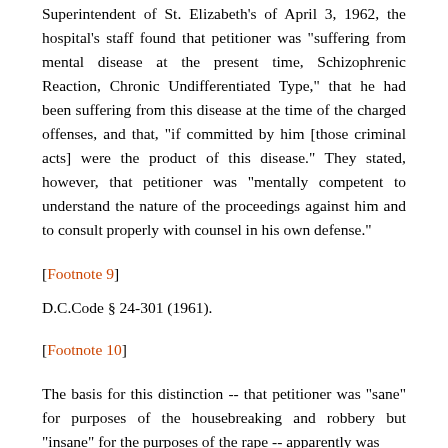Superintendent of St. Elizabeth's of April 3, 1962, the hospital's staff found that petitioner was "suffering from mental disease at the present time, Schizophrenic Reaction, Chronic Undifferentiated Type," that he had been suffering from this disease at the time of the charged offenses, and that, "if committed by him [those criminal acts] were the product of this disease." They stated, however, that petitioner was "mentally competent to understand the nature of the proceedings against him and to consult properly with counsel in his own defense."
[Footnote 9]
D.C.Code § 24-301 (1961).
[Footnote 10]
The basis for this distinction -- that petitioner was "sane" for purposes of the housebreaking and robbery but "insane" for the purposes of the rape -- apparently was